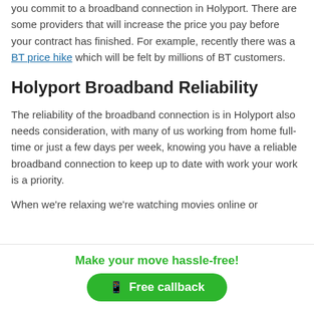you commit to a broadband connection in Holyport. There are some providers that will increase the price you pay before your contract has finished. For example, recently there was a BT price hike which will be felt by millions of BT customers.
Holyport Broadband Reliability
The reliability of the broadband connection is in Holyport also needs consideration, with many of us working from home full-time or just a few days per week, knowing you have a reliable broadband connection to keep up to date with work your work is a priority.
When we're relaxing we're watching movies online or
Make your move hassle-free!
Free callback